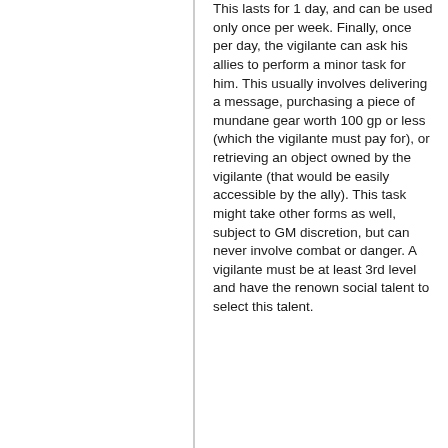This lasts for 1 day, and can be used only once per week. Finally, once per day, the vigilante can ask his allies to perform a minor task for him. This usually involves delivering a message, purchasing a piece of mundane gear worth 100 gp or less (which the vigilante must pay for), or retrieving an object owned by the vigilante (that would be easily accessible by the ally). This task might take other forms as well, subject to GM discretion, but can never involve combat or danger. A vigilante must be at least 3rd level and have the renown social talent to select this talent.